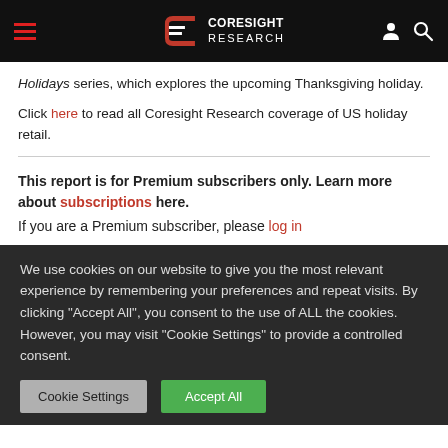Coresight Research
Holidays series, which explores the upcoming Thanksgiving holiday.
Click here to read all Coresight Research coverage of US holiday retail.
This report is for Premium subscribers only. Learn more about subscriptions here.
If you are a Premium subscriber, please log in
We use cookies on our website to give you the most relevant experience by remembering your preferences and repeat visits. By clicking "Accept All", you consent to the use of ALL the cookies. However, you may visit "Cookie Settings" to provide a controlled consent.